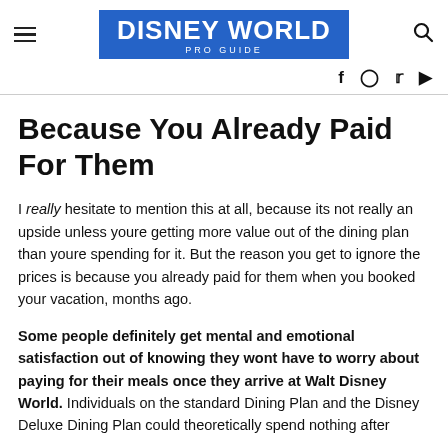Disney World Pro Guide
Because You Already Paid For Them
I really hesitate to mention this at all, because its not really an upside unless youre getting more value out of the dining plan than youre spending for it. But the reason you get to ignore the prices is because you already paid for them when you booked your vacation, months ago.
Some people definitely get mental and emotional satisfaction out of knowing they wont have to worry about paying for their meals once they arrive at Walt Disney World. Individuals on the standard Dining Plan and the Disney Deluxe Dining Plan could theoretically spend nothing after